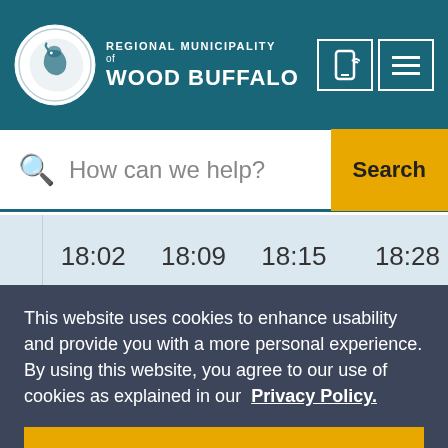[Figure (logo): Regional Municipality of Wood Buffalo logo with bison graphic in white circle on teal header, with phone/menu icons]
How can we help?
|  | 18:02 | 18:09 | 18:15 | 18:28 |
| --- | --- | --- | --- | --- |
|  | 19:02 | 19:09 | 19:15 | 19:28 |
This website uses cookies to enhance usability and provide you with a more personal experience. By using this website, you agree to our use of cookies as explained in our Privacy Policy.
Agree
[Figure (logo): Regional Municipality of Wood Buffalo watermark logo at bottom]